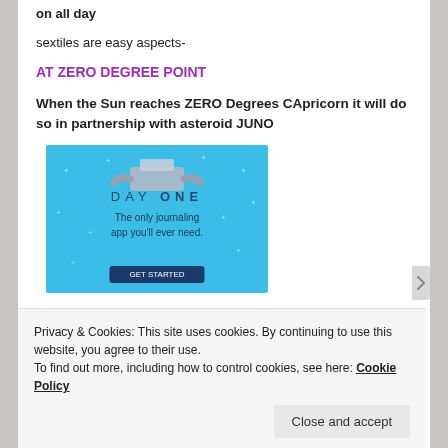on all day
sextiles are easy aspects-
AT ZERO DEGREE POINT
When the Sun reaches ZERO Degrees CApricorn it will do so in partnership with asteroid JUNO
[Figure (illustration): DAY ONE journaling app advertisement with blue background, person holding a box, text 'DAY ONE - The only journaling app you'll ever need.']
Privacy & Cookies: This site uses cookies. By continuing to use this website, you agree to their use. To find out more, including how to control cookies, see here: Cookie Policy